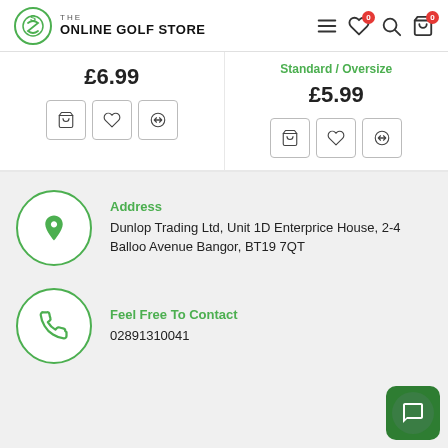The Online Golf Store
£6.99
Standard / Oversize
£5.99
Address
Dunlop Trading Ltd, Unit 1D Enterprice House, 2-4 Balloo Avenue Bangor, BT19 7QT
Feel Free To Contact
02891310041